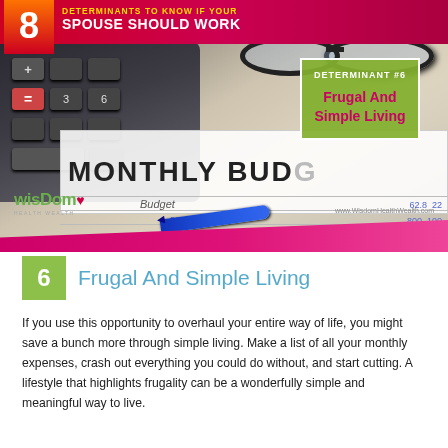[Figure (infographic): Top banner infographic with number 8 and text 'DETERMINANTS TO KNOW IF YOUR SPOUSE SHOULD WORK'. Background shows a calculator, glasses, and a monthly budget sheet. A green box overlay shows 'DETERMINANT #6 - Frugal And Simple Living'. Wisdom Health Wealth logo and URL visible at bottom of image.]
6  Frugal And Simple Living
If you use this opportunity to overhaul your entire way of life, you might save a bunch more through simple living. Make a list of all your monthly expenses, crash out everything you could do without, and start cutting. A lifestyle that highlights frugality can be a wonderfully simple and meaningful way to live.